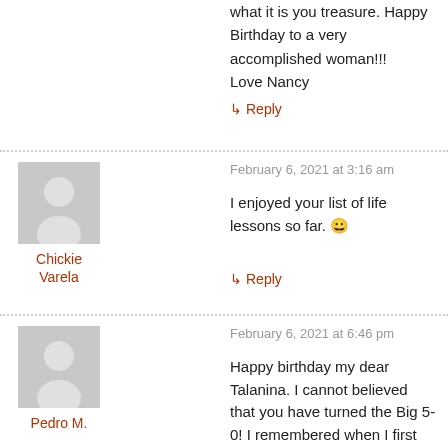what it is you treasure. Happy Birthday to a very accomplished woman!!!
Love Nancy
↳ Reply
February 6, 2021 at 3:16 am
I enjoyed your list of life lessons so far. 😀
Chickie Varela
↳ Reply
February 6, 2021 at 6:46 pm
Happy birthday my dear Talanina. I cannot believed that you have turned the Big 5-0! I remembered when I first met you in 1973,
Pedro M.